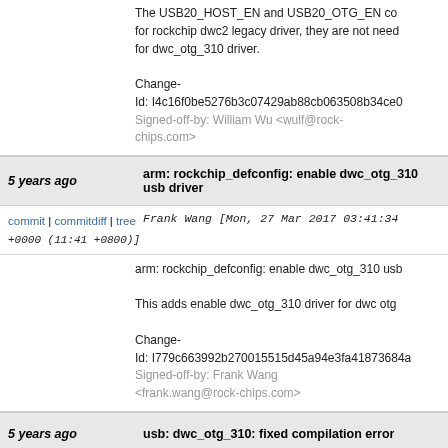The USB20_HOST_EN and USB20_OTG_EN co for rockchip dwc2 legacy driver, they are not need for dwc_otg_310 driver.

Change-Id: I4c16f0be5276b3c07429ab88cb063508b34ce0
Signed-off-by: William Wu <wulf@rock-chips.com>
5 years ago   arm: rockchip_defconfig: enable dwc_otg_310 usb driver
commit | commitdiff | tree   Frank Wang [Mon, 27 Mar 2017 03:41:34 +0000 (11:41 +0800)]
arm: rockchip_defconfig: enable dwc_otg_310 usb

This adds enable dwc_otg_310 driver for dwc otg

Change-Id: I779c663992b270015515d45a94e3fa41873684
Signed-off-by: Frank Wang <frank.wang@rock-chips.com>
5 years ago   usb: dwc_otg_310: fixed compilation error
commit | commitdiff | tree   Frank Wang [Mon, 27 Mar 2017 03:31:35 +0000 (11:31 +0800)]
usb: dwc_otg_310: fixed compilation error